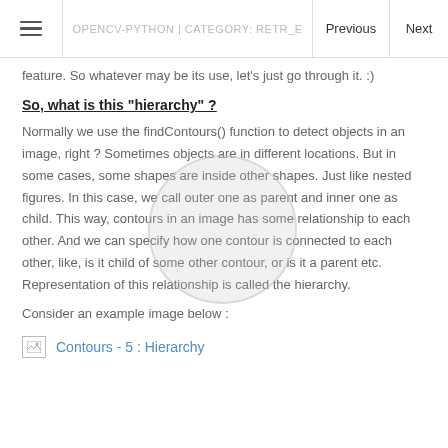OPENCV-PYTHON | CATEGORY: RETR_E... | Previous | Next
feature. So whatever may be its use, let's just go through it. :)
So, what is this "hierarchy" ?
Normally we use the findContours() function to detect objects in an image, right ? Sometimes objects are in different locations. But in some cases, some shapes are inside other shapes. Just like nested figures. In this case, we call outer one as parent and inner one as child. This way, contours in an image has some relationship to each other. And we can specify how one contour is connected to each other, like, is it child of some other contour, or is it a parent etc. Representation of this relationship is called the hierarchy.
Consider an example image below :
[Figure (illustration): Placeholder image icon with link text 'Contours - 5 : Hierarchy']